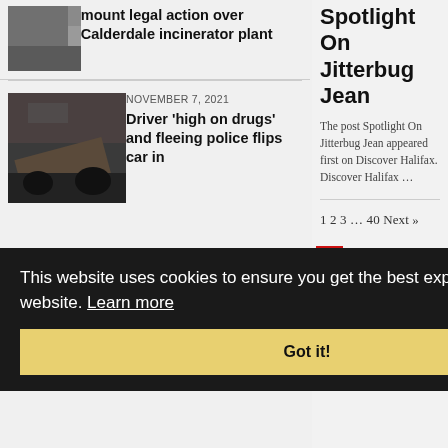mount legal action over Calderdale incinerator plant
NOVEMBER 7, 2021
Driver ‘high on drugs’ and fleeing police flips car in
Spotlight On Jitterbug Jean
The post Spotlight On Jitterbug Jean appeared first on Discover Halifax. Discover Halifax …
1 2 3 … 40 Next »
This website uses cookies to ensure you get the best experience on our website. Learn more
Got it!
ies
vs
Submit an